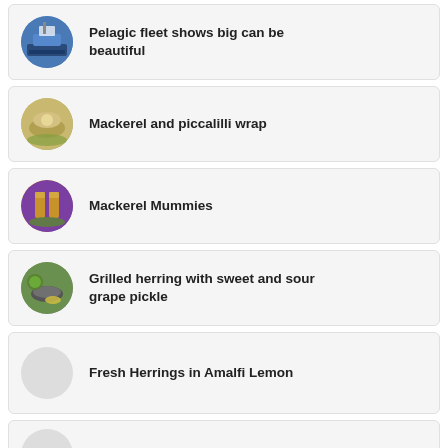Pelagic fleet shows big can be beautiful
Mackerel and piccalilli wrap
Mackerel Mummies
Grilled herring with sweet and sour grape pickle
Fresh Herrings in Amalfi Lemon